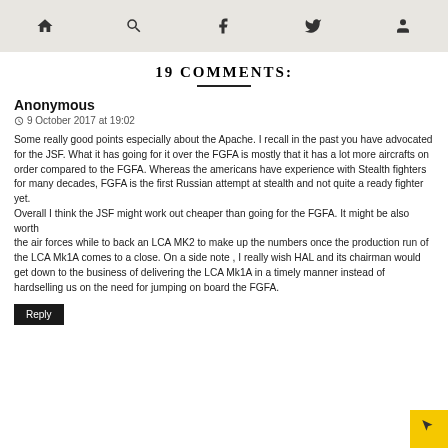[navigation icons: home, search, facebook, twitter, user]
19 COMMENTS:
Anonymous
9 October 2017 at 19:02
Some really good points especially about the Apache. I recall in the past you have advocated for the JSF. What it has going for it over the FGFA is mostly that it has a lot more aircrafts on order compared to the FGFA. Whereas the americans have experience with Stealth fighters for many decades, FGFA is the first Russian attempt at stealth and not quite a ready fighter yet.
Overall I think the JSF might work out cheaper than going for the FGFA. It might be also worth
the air forces while to back an LCA MK2 to make up the numbers once the production run of the LCA Mk1A comes to a close. On a side note , I really wish HAL and its chairman would get down to the business of delivering the LCA Mk1A in a timely manner instead of hardselling us on the need for jumping on board the FGFA.
Reply